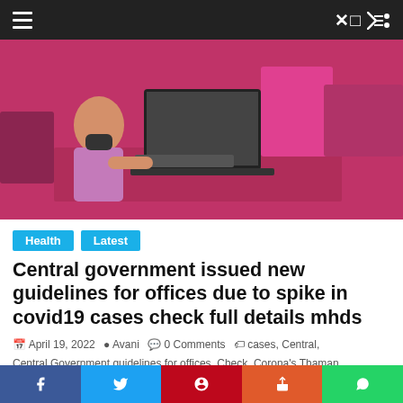Navigation bar with hamburger menu and shuffle icon
[Figure (photo): Person wearing a face mask working at a laptop in an office with bright pink/magenta furniture and partitions]
Health  Latest
Central government issued new guidelines for offices due to spike in covid19 cases check full details mhds
April 19, 2022  Avani  0 Comments  cases, Central, Central Government guidelines for offices, Check, Corona's Thaman in India, Coronavirus in India, COVID19, covid19 guidelines for offices, details, due, full, Global News, government, guidelines, Guidelines for government offices, Guidelines to Government
Social share bar: Facebook, Twitter, Pinterest, Share, WhatsApp